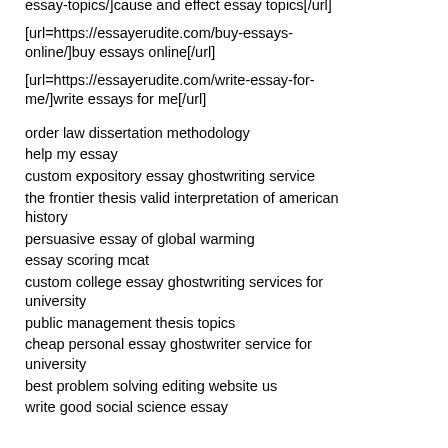essay-topics/]cause and effect essay topics[/url]
[url=https://essayerudite.com/buy-essays-online/]buy essays online[/url]
[url=https://essayerudite.com/write-essay-for-me/]write essays for me[/url]
order law dissertation methodology
help my essay
custom expository essay ghostwriting service
the frontier thesis valid interpretation of american history
persuasive essay of global warming
essay scoring mcat
custom college essay ghostwriting services for university
public management thesis topics
cheap personal essay ghostwriter service for university
best problem solving editing website us
write good social science essay